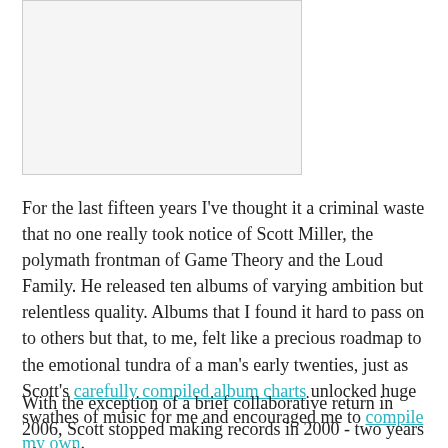[Figure (photo): Image placeholder area, white/light gray rectangle with border]
For the last fifteen years I've thought it a criminal waste that no one really took notice of Scott Miller, the polymath frontman of Game Theory and the Loud Family. He released ten albums of varying ambition but relentless quality. Albums that I found it hard to pass on to others but that, to me, felt like a precious roadmap to the emotional tundra of a man's early twenties, just as Scott's carefully compiled album charts unlocked huge swathes of music for me and encouraged me to compile my own.
With the exception of a brief collaborative return in 2006, Scott stopped making records in 2000 - two years after I first heard his music. Through second hand shops, Amazon, kind